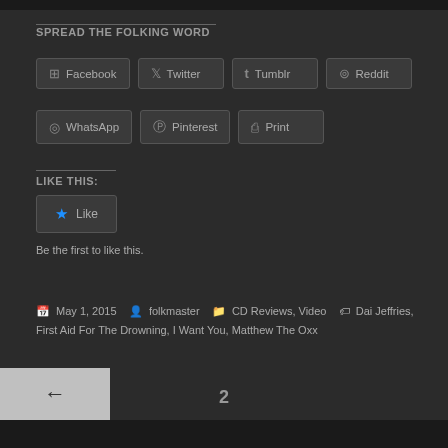SPREAD THE FOLKING WORD
Facebook  Twitter  Tumblr  Reddit  WhatsApp  Pinterest  Print
LIKE THIS:
Like
Be the first to like this.
May 1, 2015  folkmaster  CD Reviews, Video  Dai Jeffries, First Aid For The Drowning, I Want You, Matthew The Oxx
← 2